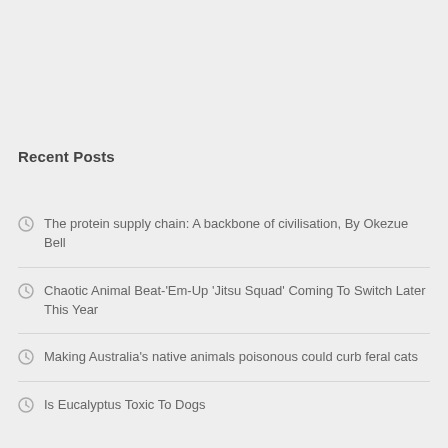Recent Posts
The protein supply chain: A backbone of civilisation, By Okezue Bell
Chaotic Animal Beat-'Em-Up 'Jitsu Squad' Coming To Switch Later This Year
Making Australia's native animals poisonous could curb feral cats
Is Eucalyptus Toxic To Dogs